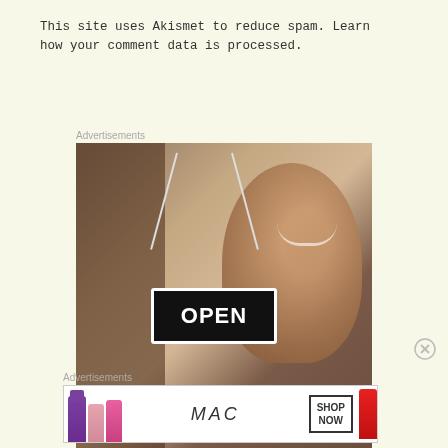This site uses Akismet to reduce spam. Learn how your comment data is processed.
Advertisements
[Figure (photo): Photo of a smiling woman holding an OPEN sign in a shop window]
Advertisements
[Figure (photo): MAC cosmetics advertisement showing lipsticks with SHOP NOW button]